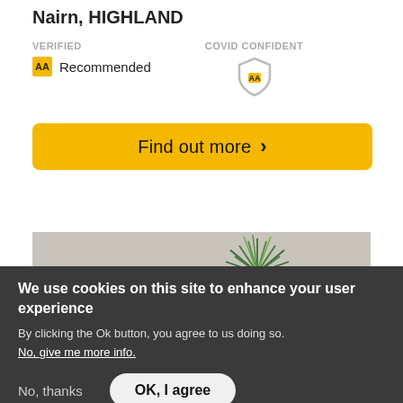Nairn, HIGHLAND
VERIFIED
COVID CONFIDENT
AA Recommended
Find out more >
[Figure (photo): Photo of a green plant on a light marble-style surface, partially cut off by cookie banner overlay]
We use cookies on this site to enhance your user experience
By clicking the Ok button, you agree to us doing so.
No, give me more info.
No, thanks
OK, I agree